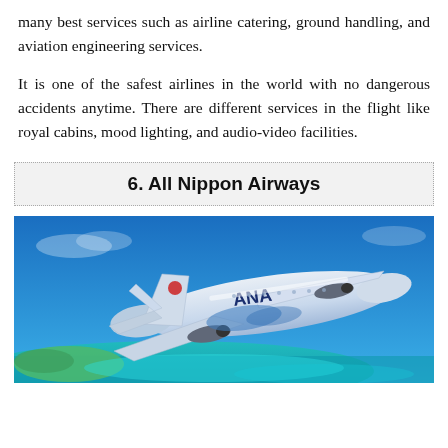many best services such as airline catering, ground handling, and aviation engineering services.
It is one of the safest airlines in the world with no dangerous accidents anytime. There are different services in the flight like royal cabins, mood lighting, and audio-video facilities.
6. All Nippon Airways
[Figure (photo): An ANA (All Nippon Airways) airplane with blue and white livery featuring a turtle design, flying over turquoise ocean water and a tropical island landscape against a blue sky.]